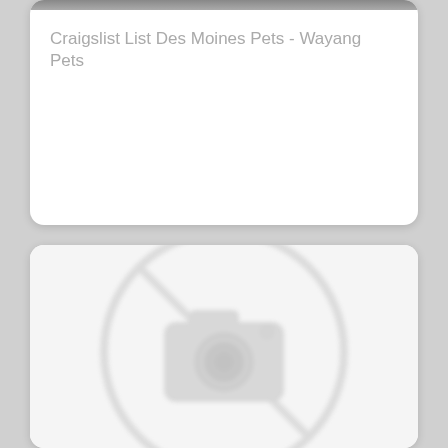[Figure (photo): Top portion of a card with a blurred gray/dark image at the very top edge]
Craigslist List Des Moines Pets - Wayang Pets
[Figure (illustration): A 'no image available' placeholder icon showing a camera with a diagonal line through it inside a circle, rendered in light gray, slightly blurred]